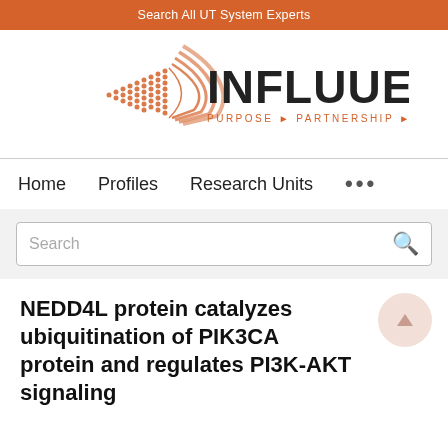Search All UT System Experts
[Figure (logo): Influuent logo with orange geometric triangle/dots and text INFLUUENT PURPOSE PARTNERSHIP PROGRESS]
Home   Profiles   Research Units   ...
Search
NEDD4L protein catalyzes ubiquitination of PIK3CA protein and regulates PI3K-AKT signaling